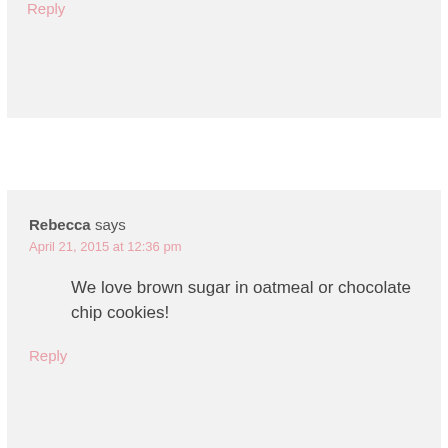Reply
Rebecca says
April 21, 2015 at 12:36 pm
We love brown sugar in oatmeal or chocolate chip cookies!
Reply
Victoria R. says